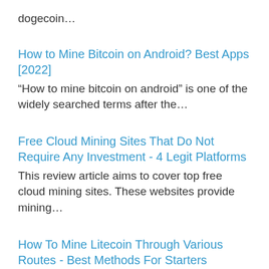dogecoin…
How to Mine Bitcoin on Android? Best Apps [2022]
“How to mine bitcoin on android” is one of the widely searched terms after the…
Free Cloud Mining Sites That Do Not Require Any Investment - 4 Legit Platforms
This review article aims to cover top free cloud mining sites. These websites provide mining…
How To Mine Litecoin Through Various Routes - Best Methods For Starters
Making money through cryptocurrency and